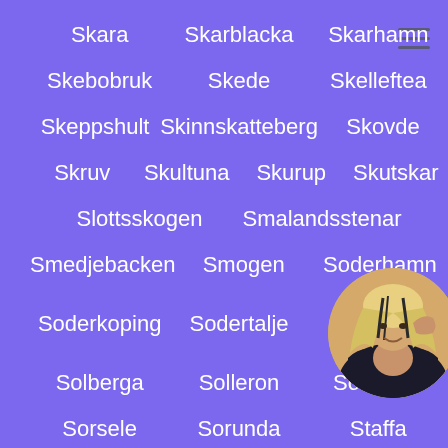Skara
Skarblacka
Skarhamn
Skebobruk
Skede
Skelleftea
Skeppshult
Skinnskatteberg
Skovde
Skruv
Skultuna
Skurup
Skutskar
Slottsskogen
Smalandsstenar
Smedjebacken
Smogen
Soderhamn
Soderkoping
Sodertalje
Sodra Sandby
Solberga
Solleron
Solvesborg
Sorsele
Sorunda
Staffanstorp
Stallarholmen
Stensjon
Stenstorp
Storuman
Storvreta
Strangnas
[Figure (photo): Circular avatar photo of a blonde woman]